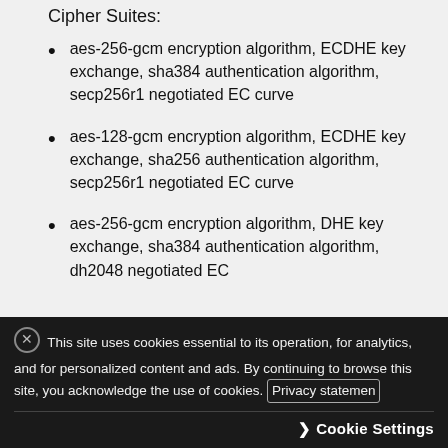Cipher Suites:
aes-256-gcm encryption algorithm, ECDHE key exchange, sha384 authentication algorithm, secp256r1 negotiated EC curve
aes-128-gcm encryption algorithm, ECDHE key exchange, sha256 authentication algorithm, secp256r1 negotiated EC curve
aes-256-gcm encryption algorithm, DHE key exchange, sha384 authentication algorithm, dh2048 negotiated EC
This site uses cookies essential to its operation, for analytics, and for personalized content and ads. By continuing to browse this site, you acknowledge the use of cookies. Privacy statement
Cookie Settings